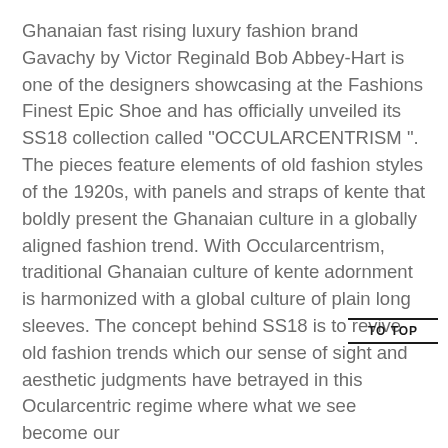Ghanaian fast rising luxury fashion brand Gavachy by Victor Reginald Bob Abbey-Hart is one of the designers showcasing at the Fashions Finest Epic Shoe and has officially unveiled its SS18 collection called “OCCULARCENTRISM ”. The pieces feature elements of old fashion styles of the 1920s, with panels and straps of kente that boldly present the Ghanaian culture in a globally aligned fashion trend. With Occularcentrism, traditional Ghanaian culture of kente adornment is harmonized with a global culture of plain long sleeves. The concept behind SS18 is to revive old fashion trends which our sense of sight and aesthetic judgments have betrayed in this Ocularcentric regime where what we see become our